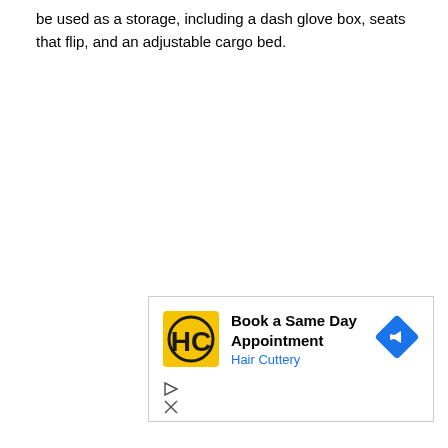be used as a storage, including a dash glove box, seats that flip, and an adjustable cargo bed.
[Figure (other): Advertisement banner for Hair Cuttery with yellow logo showing HC monogram, text 'Book a Same Day Appointment', 'Hair Cuttery' in blue, and a blue diamond-shaped navigation arrow icon. Below are play and close control icons.]